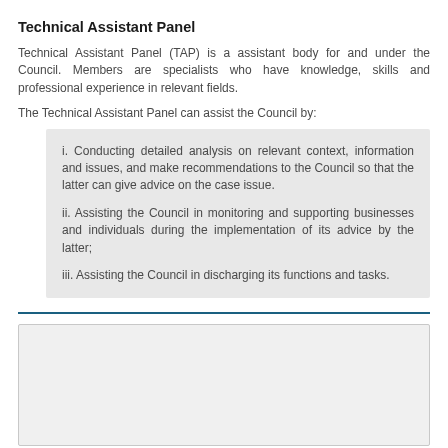Technical Assistant Panel
Technical Assistant Panel (TAP) is a assistant body for and under the Council. Members are specialists who have knowledge, skills and professional experience in relevant fields.
The Technical Assistant Panel can assist the Council by:
i. Conducting detailed analysis on relevant context, information and issues, and make recommendations to the Council so that the latter can give advice on the case issue.
ii. Assisting the Council in monitoring and supporting businesses and individuals during the implementation of its advice by the latter;
iii. Assisting the Council in discharging its functions and tasks.
[Figure (other): Blank light gray box section at bottom of page]